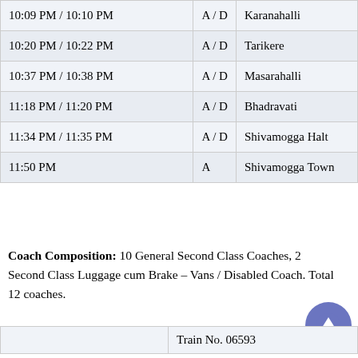| Time | A/D | Station |
| --- | --- | --- |
| 10:09 PM  /  10:10 PM | A / D | Karanahalli |
| 10:20 PM  /  10:22 PM | A / D | Tarikere |
| 10:37 PM  /  10:38 PM | A / D | Masarahalli |
| 11:18 PM  /  11:20 PM | A / D | Bhadravati |
| 11:34 PM  /  11:35 PM | A / D | Shivamogga Halt |
| 11:50 PM | A | Shivamogga Town |
Coach Composition: 10 General Second Class Coaches, 2 Second Class Luggage cum Brake – Vans / Disabled Coach. Total 12 coaches.
|  | Train No. 06593 |